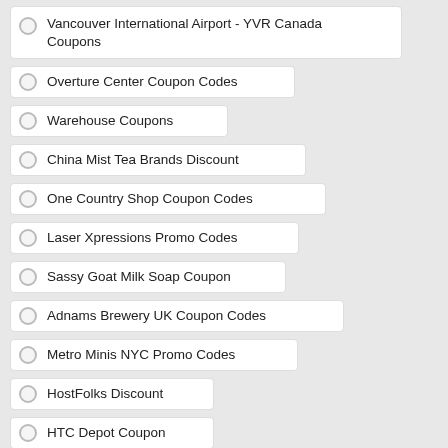Vancouver International Airport - YVR Canada Coupons
Overture Center Coupon Codes
Warehouse Coupons
China Mist Tea Brands Discount
One Country Shop Coupon Codes
Laser Xpressions Promo Codes
Sassy Goat Milk Soap Coupon
Adnams Brewery UK Coupon Codes
Metro Minis NYC Promo Codes
HostFolks Discount
HTC Depot Coupon